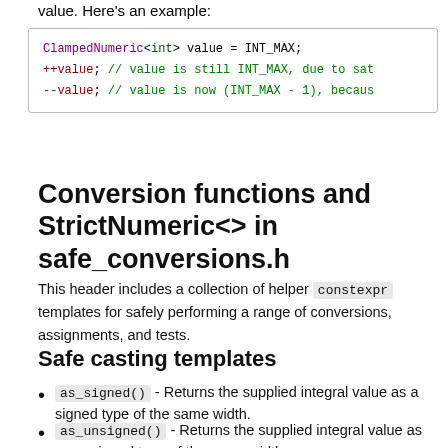value. Here's an example:
[Figure (screenshot): Code block showing ClampedNumeric<int> value = INT_MAX; ++value; // value is still INT_MAX, due to saturation --value; // value is now (INT_MAX - 1), because]
Conversion functions and StrictNumeric<> in safe_conversions.h
This header includes a collection of helper constexpr templates for safely performing a range of conversions, assignments, and tests.
Safe casting templates
as_signed() - Returns the supplied integral value as a signed type of the same width.
as_unsigned() - Returns the supplied integral value as an unsigned type of the same width.